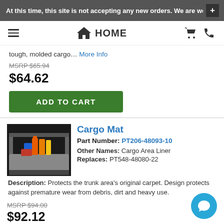At this time, this site is not accepting any new orders. We are wor
tough, molded cargo... More Info
MSRP $65.94
$64.62
ADD TO CART
Cargo Mat
Part Number: PT206-48093-10
Other Names: Cargo Area Liner
Replaces: PT548-48080-22
Description: Protects the trunk area's original carpet. Design protects against premature wear from debris, dirt and heavy use.
MSRP $94.00
$92.12
ADD TO CART